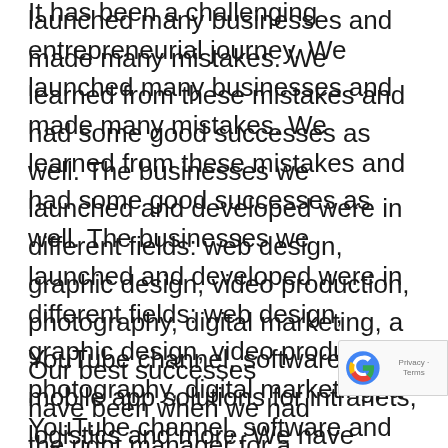It has been a challenging entrepreneurial journey. We launched many businesses and made many mistakes. We learned from these mistakes and had some good successes as well. The businesses we launched and developed were in different fields: web design, graphic design, video production, photography, digital marketing, a YouTube channel, software and mobile app solutions for intranets, logistics and more. We have always been self funded so we had to be careful with our cash flow and we have always been profitable. We now have an International team of 45 people.
Our best successes have been when we had the right manager for a specific business. Our culture is to share the fruits of success and it led us to value co-entrepreneurs as well. To be sure we stay in the business we are good at...